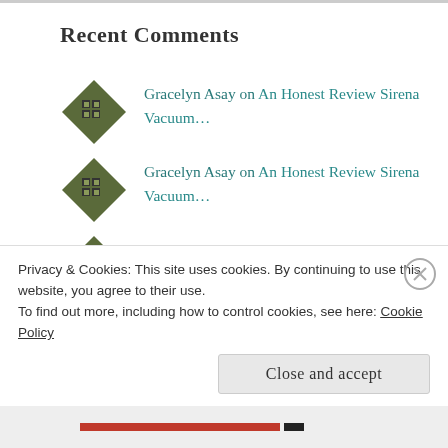Recent Comments
Gracelyn Asay on An Honest Review Sirena Vacuum…
Gracelyn Asay on An Honest Review Sirena Vacuum…
Gracelyn Asay on An Honest Review Sirena Vacuum…
Shelley on An Honest Review Sirena
Privacy & Cookies: This site uses cookies. By continuing to use this website, you agree to their use. To find out more, including how to control cookies, see here: Cookie Policy
Close and accept